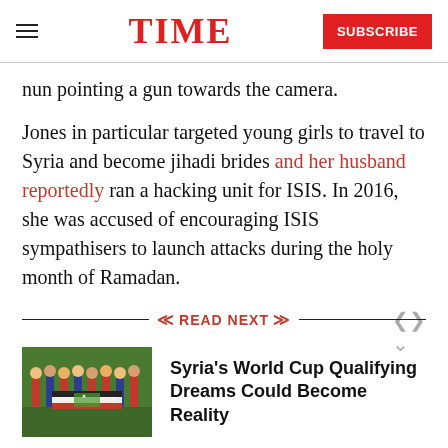TIME  SUBSCRIBE
nun pointing a gun towards the camera.
Jones in particular targeted young girls to travel to Syria and become jihadi brides and her husband reportedly ran a hacking unit for ISIS. In 2016, she was accused of encouraging ISIS sympathisers to launch attacks during the holy month of Ramadan.
READ NEXT
[Figure (photo): Soccer/football players on a field holding a Syrian flag]
Syria's World Cup Qualifying Dreams Could Become Reality